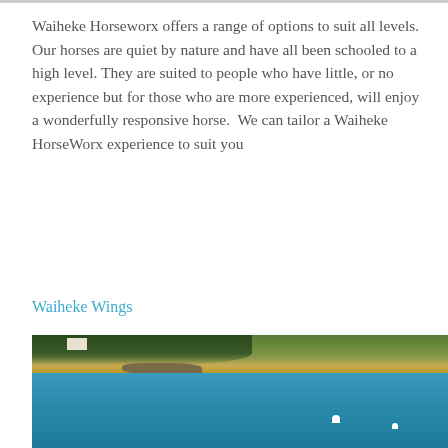Waiheke Horseworx offers a range of options to suit all levels. Our horses are quiet by nature and have all been schooled to a high level. They are suited to people who have little, or no experience but for those who are more experienced, will enjoy a wonderfully responsive horse.  We can tailor a Waiheke HorseWorx experience to suit you
Waiheke Wings
[Figure (photo): Aerial photograph of Waiheke Island coastline showing turquoise water, a sandy beach strip with rocky outcroppings, dark green tree coverage, a small white structure, and two white sailboats visible in the water.]